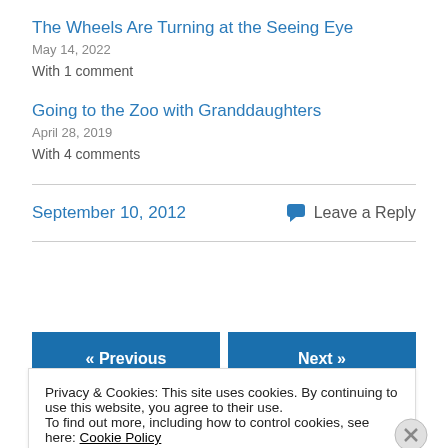The Wheels Are Turning at the Seeing Eye
May 14, 2022
With 1 comment
Going to the Zoo with Granddaughters
April 28, 2019
With 4 comments
September 10, 2012
Leave a Reply
« Previous
Next »
Privacy & Cookies: This site uses cookies. By continuing to use this website, you agree to their use.
To find out more, including how to control cookies, see here: Cookie Policy
Close and accept